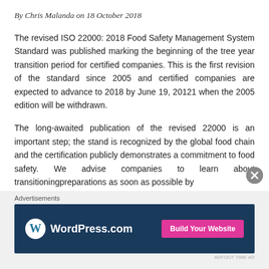By Chris Malanda on 18 October 2018
The revised ISO 22000: 2018 Food Safety Management System Standard was published marking the beginning of the tree year transition period for certified companies. This is the first revision of the standard since 2005 and certified companies are expected to advance to 2018 by June 19, 20121 when the 2005 edition will be withdrawn.
The long-awaited publication of the revised 22000 is an important step; the stand is recognized by the global food chain and the certification publicly demonstrates a commitment to food safety. We advise companies to learn about transitioningpreparations as soon as possible by
[Figure (other): WordPress.com advertisement banner with logo on dark navy background and pink 'Build Your Website' button]